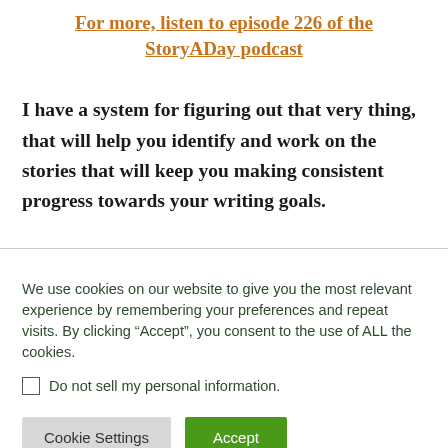For more, listen to episode 226 of the StoryADay podcast
I have a system for figuring out that very thing, that will help you identify and work on the stories that will keep you making consistent progress towards your writing goals.
We use cookies on our website to give you the most relevant experience by remembering your preferences and repeat visits. By clicking “Accept”, you consent to the use of ALL the cookies.
Do not sell my personal information.
Cookie Settings
Accept